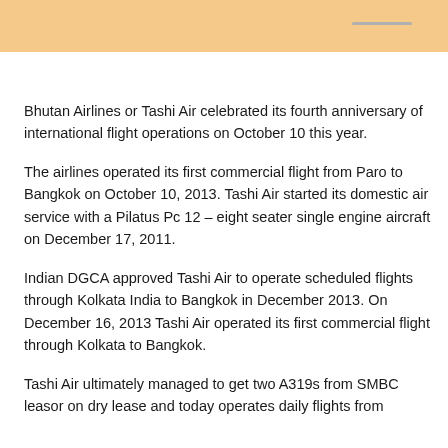Bhutan Airlines or Tashi Air celebrated its fourth anniversary of international flight operations on October 10 this year.
The airlines operated its first commercial flight from Paro to Bangkok on October 10, 2013. Tashi Air started its domestic air service with a Pilatus Pc 12 – eight seater single engine aircraft on December 17, 2011.
Indian DGCA approved Tashi Air to operate scheduled flights through Kolkata India to Bangkok in December 2013. On December 16, 2013 Tashi Air operated its first commercial flight through Kolkata to Bangkok.
Tashi Air ultimately managed to get two A319s from SMBC leasor on dry lease and today operates daily flights from Paro to Bangkok via Kolkata and from Paro to some other destinations.